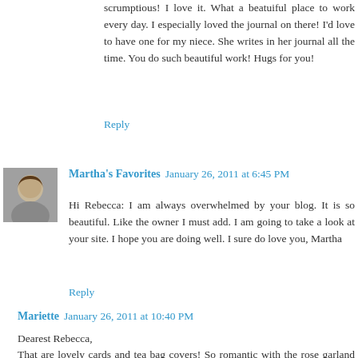scrumptious! I love it. What a beatuiful place to work every day. I especially loved the journal on there! I'd love to have one for my niece. She writes in her journal all the time. You do such beautiful work! Hugs for you!
Reply
Martha's Favorites  January 26, 2011 at 6:45 PM
Hi Rebecca: I am always overwhelmed by your blog. It is so beautiful. Like the owner I must add. I am going to take a look at your site. I hope you are doing well. I sure do love you, Martha
Reply
Mariette  January 26, 2011 at 10:40 PM
Dearest Rebecca,
That are lovely cards and tea bag covers! So romantic with the rose garland around...